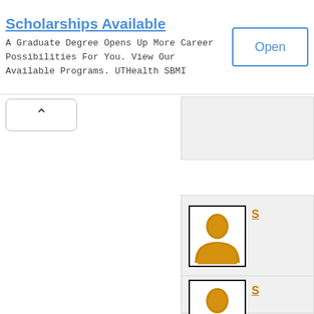Scholarships Available
A Graduate Degree Opens Up More Career Possibilities For You. View Our Available Programs. UTHealth SBMI
[Figure (screenshot): Open button - bordered rectangle with blue text 'Open']
[Figure (screenshot): Navigation up/back button with caret symbol]
[Figure (screenshot): Partial profile card at top right, grey background]
[Figure (screenshot): Profile card with generic orange avatar icon and name link starting with 'S']
[Figure (screenshot): Profile card with generic orange avatar icon and name link starting with 'S']
[Figure (screenshot): Partial profile card at bottom right, grey background]